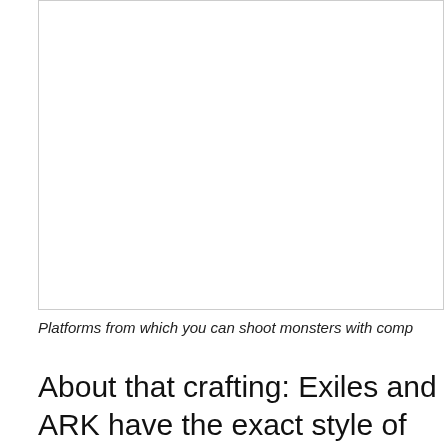[Figure (photo): A large white/blank image area with a border, likely a screenshot or image of platforms in a game.]
Platforms from which you can shoot monsters with comp
About that crafting: Exiles and ARK have the exact style of crafting progression that I like, which is so rarely found in